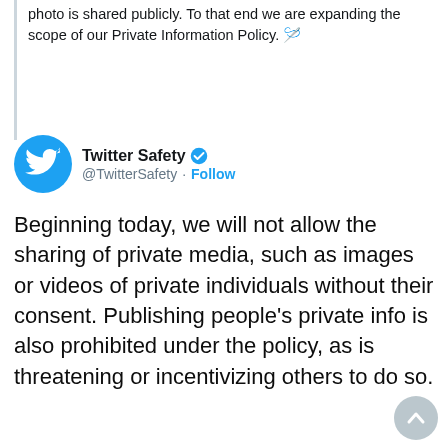photo is shared publicly. To that end we are expanding the scope of our Private Information Policy. 🪡
Twitter Safety @TwitterSafety · Follow
Beginning today, we will not allow the sharing of private media, such as images or videos of private individuals without their consent. Publishing people's private info is also prohibited under the policy, as is threatening or incentivizing others to do so.
[Figure (screenshot): Twitter/X branded image with bird logo on blue background]